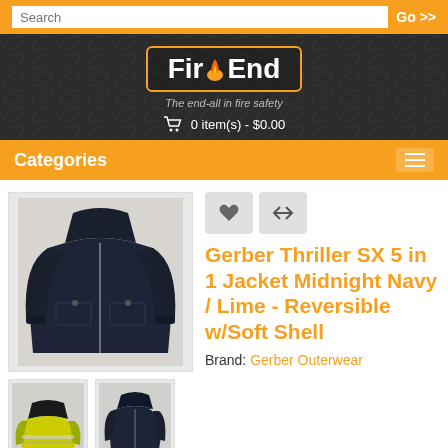Search | Go >>
[Figure (logo): FireEnd logo with flame icon and tagline 'The end-all in fire safety', cart showing 0 item(s) - $0.00]
Categories
[Figure (photo): Main product photo of dark navy jacket]
[Figure (photo): Thumbnail 1: hi-vis yellow/green jacket]
[Figure (photo): Thumbnail 2: navy jacket front view]
Gerber Thriller SX 5 in 1 Jacket Midnight Navy / Lime - Reversible w/Soft Shell
Brand: Gerber Outerwear